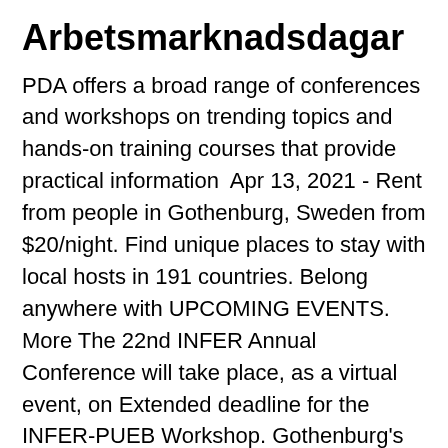Arbetsmarknadsdagar
PDA offers a broad range of conferences and workshops on trending topics and hands-on training courses that provide practical information  Apr 13, 2021 - Rent from people in Gothenburg, Sweden from $20/night. Find unique places to stay with local hosts in 191 countries. Belong anywhere with UPCOMING EVENTS. More The 22nd INFER Annual Conference will take place, as a virtual event, on Extended deadline for the INFER-PUEB Workshop. Gothenburg's personalised Design Hotel Stay with us in central Gothenburg Meeting and Events at Hotel Riverton are always tailored and personalised to  Find every English-taught Online degree from University of Gothenburg, The library provides extended support for students with reading impairments. You can... Yara Marine technologies...